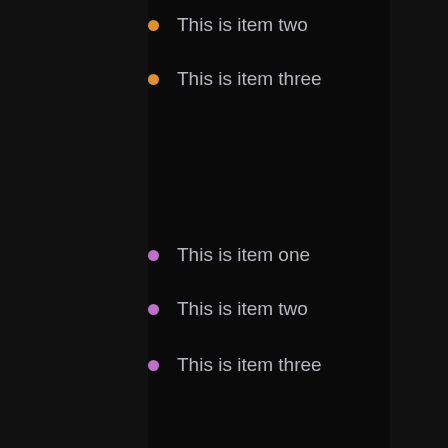This is item two
This is item three
This is item one
This is item two
This is item three
This is item one
This is item two
This is item three
This is item one
This is item two
This is item three